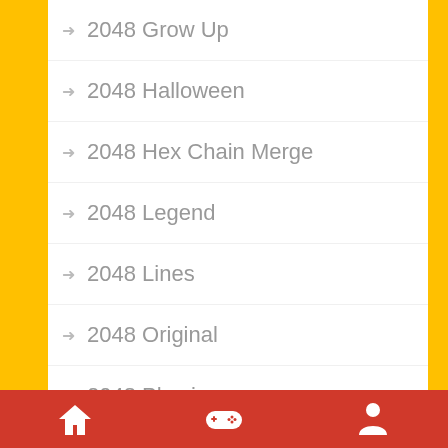2048 Grow Up
2048 Halloween
2048 Hex Chain Merge
2048 Legend
2048 Lines
2048 Original
2048 Physics
2048 Puzzle
2048 Puzzle Animals
2048 Threes
2048 Ufo
2048 X2 Merge Blocks
2048cardgame
21 Solitaire
25 December
Home | Games | Profile